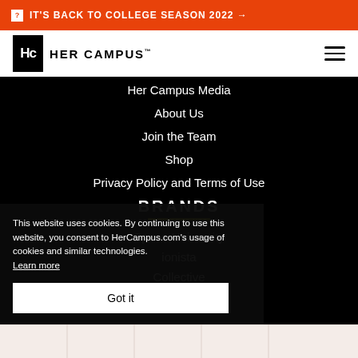IT'S BACK TO COLLEGE SEASON 2022 →
[Figure (logo): Her Campus logo — black square with Hc monogram and HER CAMPUS wordmark]
Her Campus Media
About Us
Join the Team
Shop
Privacy Policy and Terms of Use
BRANDS
Spoon University
ionista
Collective
Hired
This website uses cookies. By continuing to use this website, you consent to HerCampus.com's usage of cookies and similar technologies. Learn more
Got it